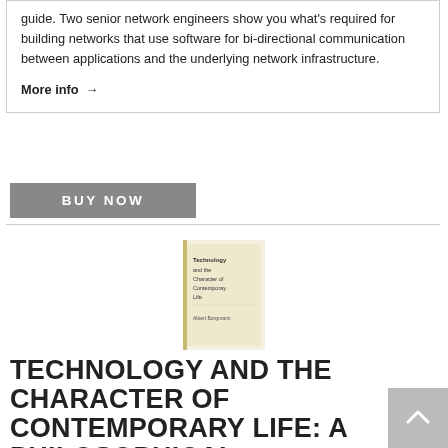guide. Two senior network engineers show you what's required for building networks that use software for bi-directional communication between applications and the underlying network infrastructure.
More info →
[Figure (other): BUY NOW button in grey rectangle]
[Figure (photo): Book cover thumbnail for Technology and the Character of Contemporary Life]
TECHNOLOGY AND THE CHARACTER OF CONTEMPORARY LIFE: A PHILOSOPHICAL